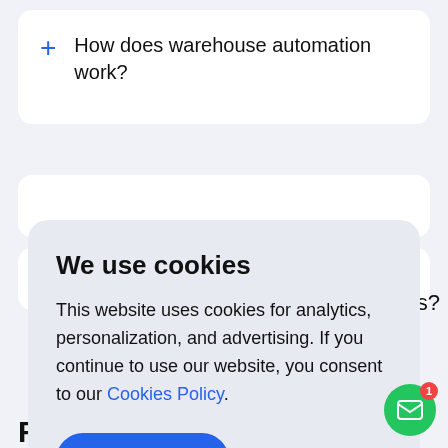+ How does warehouse automation work?
We use cookies
This website uses cookies for analytics, personalization, and advertising. If you continue to use our website, you consent to our Cookies Policy.
Accept
Rate this article!